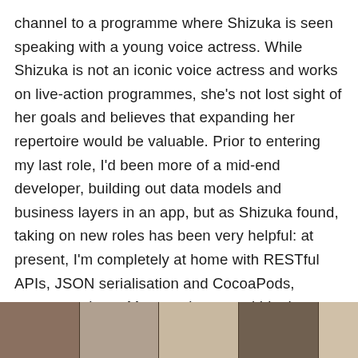channel to a programme where Shizuka is seen speaking with a young voice actress. While Shizuka is not an iconic voice actress and works on live-action programmes, she's not lost sight of her goals and believes that expanding her repertoire would be valuable. Prior to entering my last role, I'd been more of a mid-end developer, building out data models and business layers in an app, but as Shizuka found, taking on new roles has been very helpful: at present, I'm completely at home with RESTful APIs, JSON serialisation and CocoaPods, amongst others. My experiences, within the context of Shirobako, suggest that Shizuka will do fine and reach her dreams as long as she's willing to learn and be open to new experiences, which she's clearly willing to do.
[Figure (photo): A strip of photographs at the bottom of the page, showing multiple images side by side, appearing to be scenes or stills, with muted brown and grey tones.]